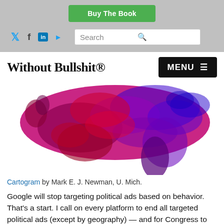[Figure (other): Green 'Buy The Book' button in the top navigation header bar]
[Figure (other): Navigation bar with social media icons (Twitter, Facebook, LinkedIn, RSS) and a search box]
Without Bullshit®
[Figure (map): Cartogram of the United States showing political data with red and blue/purple coloring by Mark E. J. Newman, U. Mich.]
Cartogram by Mark E. J. Newman, U. Mich.
Google will stop targeting political ads based on behavior. That's a start. I call on every platform to end all targeted political ads (except by geography) — and for Congress to make this the law.